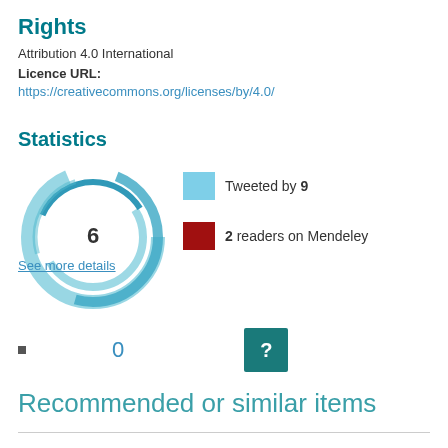Rights
Attribution 4.0 International
Licence URL:
https://creativecommons.org/licenses/by/4.0/
Statistics
[Figure (donut-chart): A donut/altmetric badge showing score 6 with blue swirl design. Legend: Tweeted by 9 (light blue), 2 readers on Mendeley (dark red).]
See more details
0
[Figure (other): A teal button with a white question mark]
Recommended or similar items